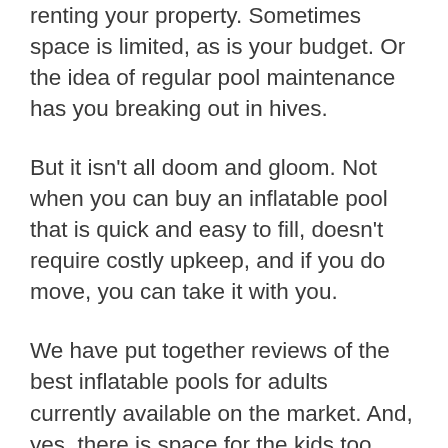renting your property. Sometimes space is limited, as is your budget. Or the idea of regular pool maintenance has you breaking out in hives.
But it isn't all doom and gloom. Not when you can buy an inflatable pool that is quick and easy to fill, doesn't require costly upkeep, and if you do move, you can take it with you.
We have put together reviews of the best inflatable pools for adults currently available on the market. And, yes, there is space for the kids too.
Reviews of the Best